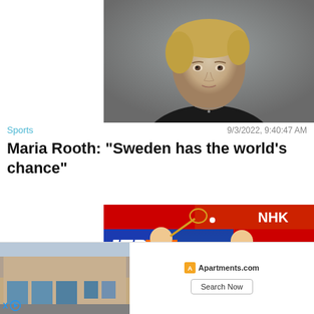[Figure (photo): Portrait photo of Maria Rooth, a woman with light hair wearing a dark blazer, against a grey background]
Sports
9/3/2022, 9:40:47 AM
Maria Rooth: "Sweden has the world's chance"
[Figure (photo): Badminton players in orange uniforms playing at an indoor court with NHK and DAIHATSU sponsor banners visible in the background]
[Figure (photo): Apartments.com advertisement showing a building exterior photo with Search Now button]